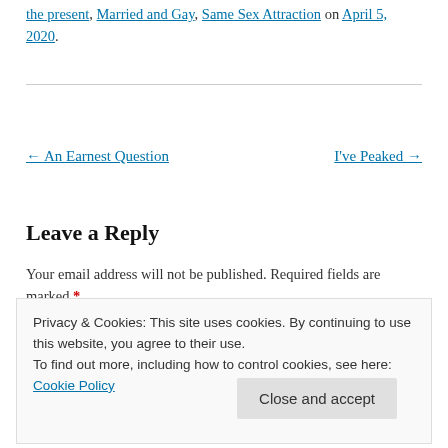the present, Married and Gay, Same Sex Attraction on April 5, 2020.
← An Earnest Question    I've Peaked →
Leave a Reply
Your email address will not be published. Required fields are marked *
Privacy & Cookies: This site uses cookies. By continuing to use this website, you agree to their use.
To find out more, including how to control cookies, see here: Cookie Policy